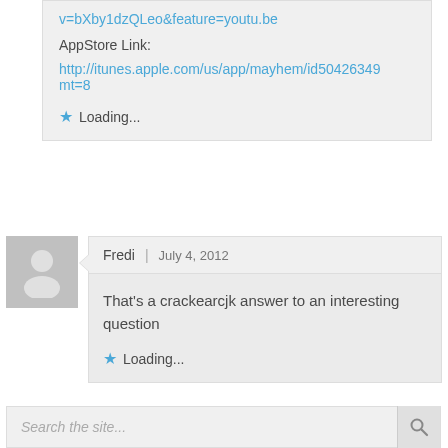v=bXby1dzQLeo&feature=youtu.be
AppStore Link:
http://itunes.apple.com/us/app/mayhem/id50426349mt=8
Loading...
Fredi | July 4, 2012
That's a crackearcjk answer to an interesting question
Loading...
Search the site...